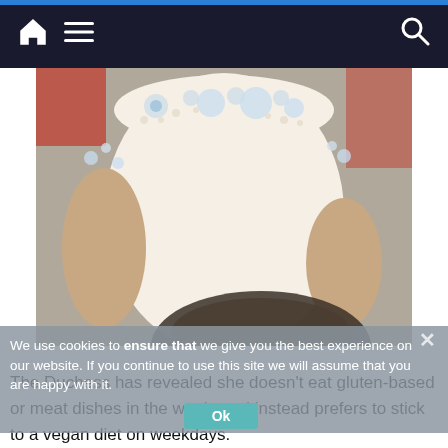Navigation bar with home, menu, and search icons
[Figure (photo): Close-up photo of a woman in a cream/off-white dress with silver floral beaded embellishments on the neckline and sleeves. A blurred dark figure appears in the lower foreground.]
We use cookies to ensure that we give you the best experience on our website. If you continue to use this site we will assume that you are happy with it.
Ok
The Duchess has revealed she doesn't eat gluten-based or meat dishes in the week, and instead prefers to stick to a vegan diet on weekdays.